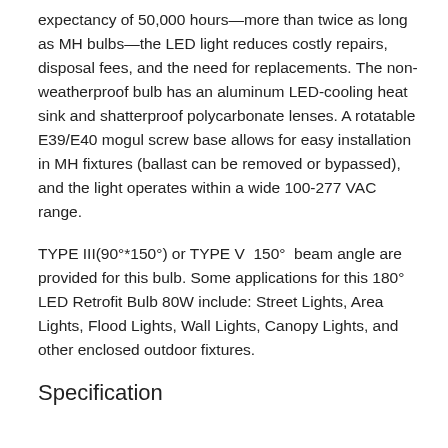expectancy of 50,000 hours—more than twice as long as MH bulbs—the LED light reduces costly repairs, disposal fees, and the need for replacements. The non-weatherproof bulb has an aluminum LED-cooling heat sink and shatterproof polycarbonate lenses. A rotatable E39/E40 mogul screw base allows for easy installation in MH fixtures (ballast can be removed or bypassed), and the light operates within a wide 100-277 VAC range.
TYPE III(90°*150°) or TYPE V  150°  beam angle are provided for this bulb. Some applications for this 180° LED Retrofit Bulb 80W include: Street Lights, Area Lights, Flood Lights, Wall Lights, Canopy Lights, and other enclosed outdoor fixtures.
Specification